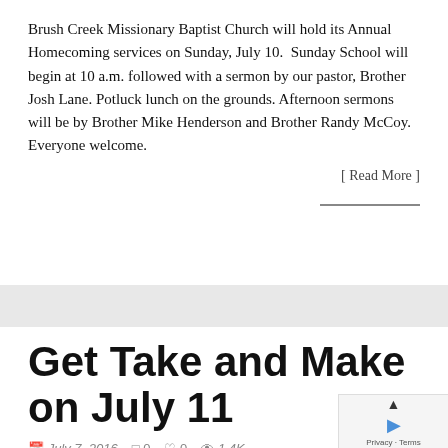Brush Creek Missionary Baptist Church will hold its Annual Homecoming services on Sunday, July 10. Sunday School will begin at 10 a.m. followed with a sermon by our pastor, Brother Josh Lane. Potluck lunch on the grounds. Afternoon sermons will be by Brother Mike Henderson and Brother Randy McCoy. Everyone welcome.
[ Read More ]
Get Take and Make on July 11
July 7, 2016   0   0   1.4K
Take and Make packets will be available in the library o... Take and Make is a project sponsored by the Friends of the